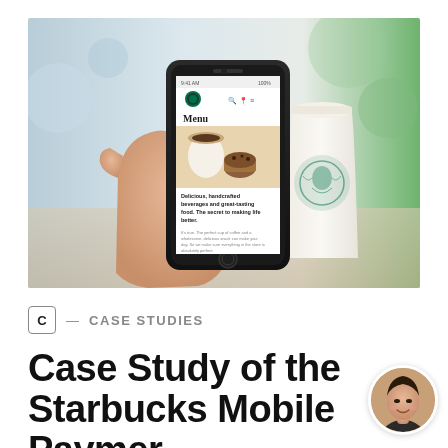[Figure (photo): A hand holding a smartphone displaying the Starbucks mobile app menu page, with a Starbucks cup visible in the background. The phone screen shows the Starbucks logo, Menu heading, an image of coffee and a muffin, and descriptive text about beverages and food.]
C — CASE STUDIES
Case Study of the Starbucks Mobile Payment
[Figure (photo): Circular avatar photo of a smiling young woman.]